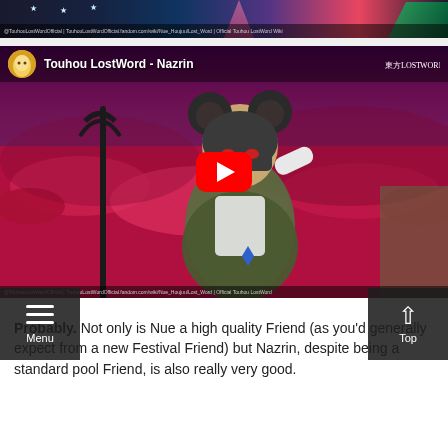[Figure (screenshot): Top banner image showing anime-style artwork with colorful characters against a dark background with stars and neon colors]
[Figure (screenshot): YouTube video thumbnail for 'Touhou LostWord - Nazrin' showing an anime girl character (Nazrin) with mouse ears in a field of red flowers, with a large red YouTube play button overlay and the Touhou LostWord logo in top right]
Probably. Not only is Nue a high quality Friend (as you'd generally expect from a new Festival Friend) but Nazrin, despite being a standard pool Friend, is also really very good.